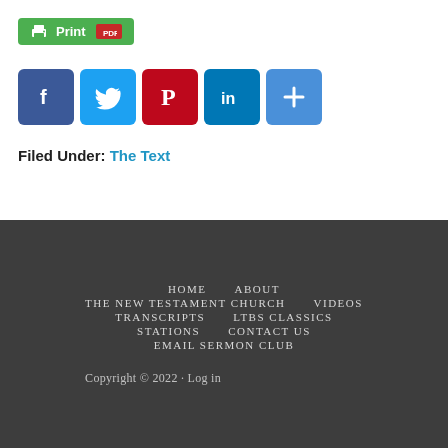[Figure (other): Print and PDF button with printer icon and red PDF label on green background]
[Figure (other): Social sharing icons: Facebook (blue), Twitter (light blue), Pinterest (red), LinkedIn (blue), More/Plus (blue)]
Filed Under: The Text
HOME   ABOUT   THE NEW TESTAMENT CHURCH   VIDEOS   TRANSCRIPTS   LTBS CLASSICS   STATIONS   CONTACT US   EMAIL SERMON CLUB   Copyright © 2022 · Log in